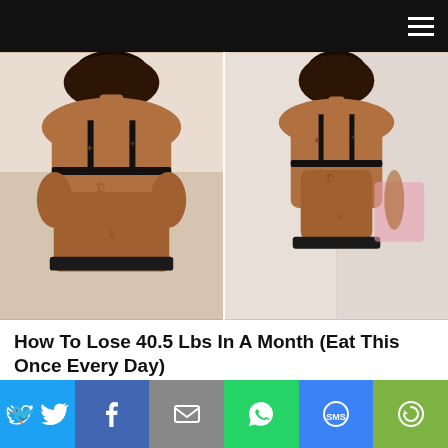Navigation bar with hamburger menu
[Figure (photo): Before and after weight loss comparison photo. Two side-by-side images of a woman seen from behind, both wearing black bras. Left image shows heavier body, right image shows slimmer body. The woman has dark hair and visible tattoos on her back.]
How To Lose 40.5 Lbs In A Month (Eat This Once Every Day)
Harvard medical student discovers 1 secret mineral that can melt felt quick.
Find Out More
72,741
Share bar with Twitter, Facebook, Email, WhatsApp, SMS, More buttons